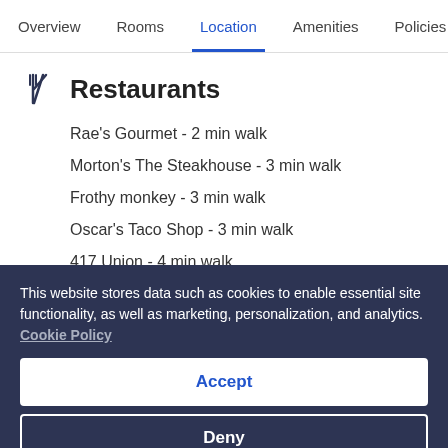Overview  Rooms  Location  Amenities  Policies  R
Restaurants
Rae's Gourmet - 2 min walk
Morton's The Steakhouse - 3 min walk
Frothy monkey - 3 min walk
Oscar's Taco Shop - 3 min walk
417 Union - 4 min walk
This website stores data such as cookies to enable essential site functionality, as well as marketing, personalization, and analytics. Cookie Policy
Accept
Deny